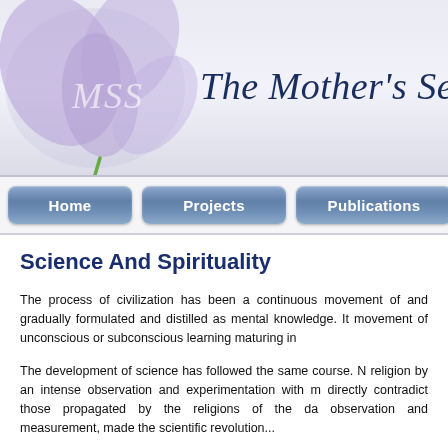[Figure (illustration): Website header banner for The Mother's Service Society (MSS) featuring a purple/lavender orchid flower on the left, the MSS watermark text, and italic serif title text 'The Mother's Se...' (truncated) on a light blue-grey gradient background.]
Home | Projects | Publications | MSS
Science And Spirituality
The process of civilization has been a continuous movement of and gradually formulated and distilled as mental knowledge. It movement of unconscious or subconscious learning maturing in
The development of science has followed the same course. N religion by an intense observation and experimentation with m directly contradict those propagated by the religions of the da observation and measurement, made the scientific revolution...